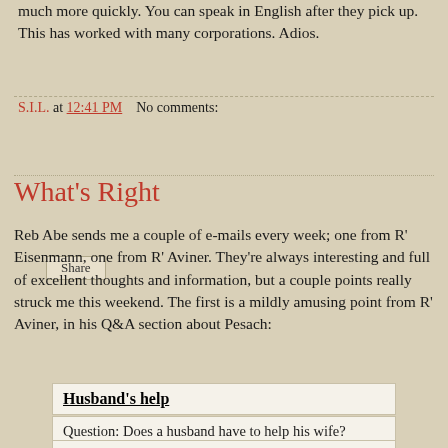much more quickly. You can speak in English after they pick up. This has worked with many corporations. Adios.
S.I.L. at 12:41 PM   No comments:
Share
What's Right
Reb Abe sends me a couple of e-mails every week; one from R' Eisenmann, one from R' Aviner. They're always interesting and full of excellent thoughts and information, but a couple points really struck me this weekend. The first is a mildly amusing point from R' Aviner, in his Q&A section about Pesach:
Husband's help
Question: Does a husband have to help his wife?
Answer: A husband does not have to help his wife nor does a wife have to help her husband